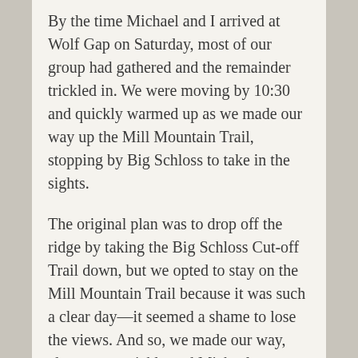By the time Michael and I arrived at Wolf Gap on Saturday, most of our group had gathered and the remainder trickled in. We were moving by 10:30 and quickly warmed up as we made our way up the Mill Mountain Trail, stopping by Big Schloss to take in the sights.
The original plan was to drop off the ridge by taking the Big Schloss Cut-off Trail down, but we opted to stay on the Mill Mountain Trail because it was such a clear day—it seemed a shame to lose the views. And so, we made our way, almost too quickly and Michael attempted to slow down the pace as we neared the last few miles.
We hopped on the Tuscarora Trail and stopped by the Sugar Knob Cabin to grab water from the spring before making our way to White Rock Cliff, our destination for the evening.